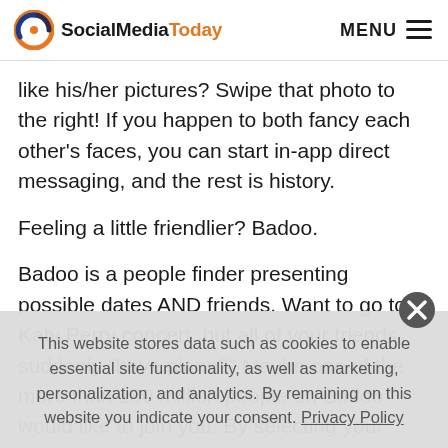SocialMediaToday  MENU
like his/her pictures? Swipe that photo to the right! If you happen to both fancy each other’s faces, you can start in-app direct messaging, and the rest is history.
Feeling a little friendlier? Badoo.
Badoo is a people finder presenting possible dates AND friends. Want to go to a Katy Perry concert, but all of your friends suddenly “have plans?” Maybe one of the more than 180 million people on Badoo would like to join you. By selecting your interests, you can
This website stores data such as cookies to enable essential site functionality, as well as marketing, personalization, and analytics. By remaining on this website you indicate your consent. Privacy Policy